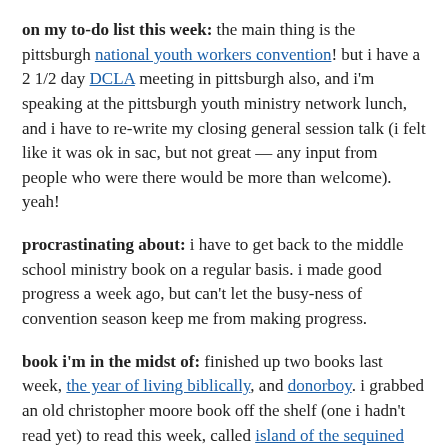on my to-do list this week: the main thing is the pittsburgh national youth workers convention! but i have a 2 1/2 day DCLA meeting in pittsburgh also, and i'm speaking at the pittsburgh youth ministry network lunch, and i have to re-write my closing general session talk (i felt like it was ok in sac, but not great — any input from people who were there would be more than welcome). yeah!
procrastinating about: i have to get back to the middle school ministry book on a regular basis. i made good progress a week ago, but can't let the busy-ness of convention season keep me from making progress.
book i'm in the midst of: finished up two books last week, the year of living biblically, and donorboy. i grabbed an old christopher moore book off the shelf (one i hadn't read yet) to read this week, called island of the sequined love nun.